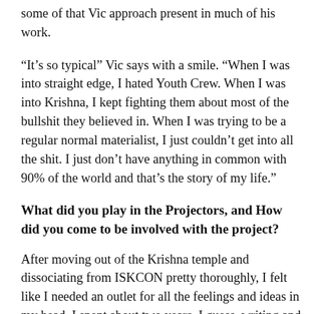some of that Vic approach present in much of his work.
“It’s so typical” Vic says with a smile. “When I was into straight edge, I hated Youth Crew. When I was into Krishna, I kept fighting them about most of the bullshit they believed in. When I was trying to be a regular normal materialist, I just couldn’t get into all the shit. I just don’t have anything in common with 90% of the world and that’s the story of my life.”
What did you play in the Projectors, and How did you come to be involved with the project?
After moving out of the Krishna temple and dissociating from ISKCON pretty thoroughly, I felt like I needed an outlet for all the feelings and ideas in my head. I spent about two years, I guess, writing and rehearsing songs with [Chain of Strength drummer] Chris Braton and [Chain of Strength guitarist] Frosty Crunchy writing the four Projectors songs